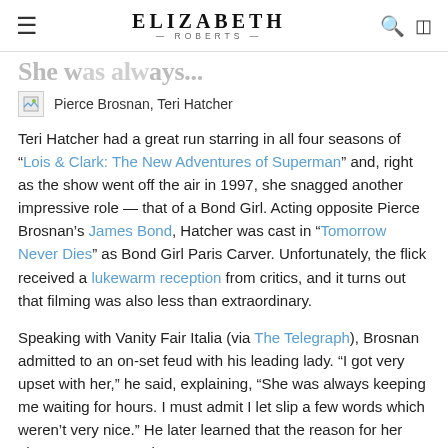ELIZABETH ROBERTS
She was always…
Pierce Brosnan, Teri Hatcher
Teri Hatcher had a great run starring in all four seasons of "Lois & Clark: The New Adventures of Superman" and, right as the show went off the air in 1997, she snagged another impressive role — that of a Bond Girl. Acting opposite Pierce Brosnan's James Bond, Hatcher was cast in "Tomorrow Never Dies" as Bond Girl Paris Carver. Unfortunately, the flick received a lukewarm reception from critics, and it turns out that filming was also less than extraordinary.
Speaking with Vanity Fair Italia (via The Telegraph), Brosnan admitted to an on-set feud with his leading lady. "I got very upset with her," he said, explaining, "She was always keeping me waiting for hours. I must admit I let slip a few words which weren't very nice." He later learned that the reason for her absences was morning